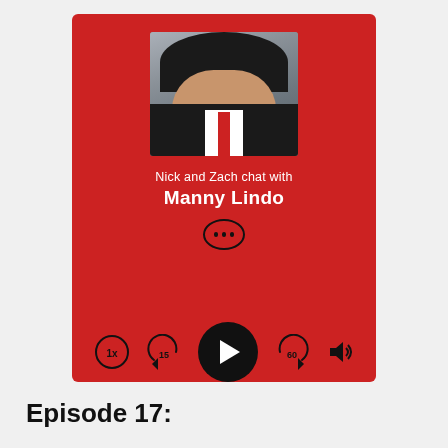[Figure (screenshot): Podcast player card with red background showing a photo of Manny Lindo, text 'Nick and Zach chat with Manny Lindo', a more options button, and playback controls (speed 1x, rewind 15, play, forward 60, volume)]
Episode 17: